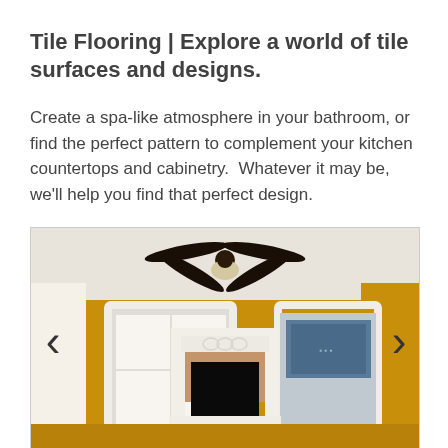Tile Flooring | Explore a world of tile surfaces and designs.
Create a spa-like atmosphere in your bathroom, or find the perfect pattern to complement your kitchen countertops and cabinetry.  Whatever it may be, we'll help you find that perfect design.
[Figure (photo): Interior room photo showing yellow/ochre walls with a white fireplace mantel in the center, two white-framed windows on either side, a ceiling fan mounted on the white ceiling, and navigation arrows (< >) on the left and right sides of the image.]